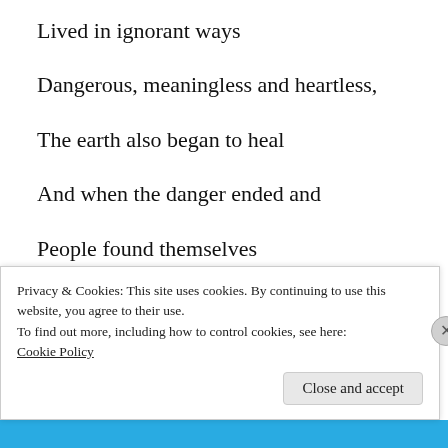Lived in ignorant ways
Dangerous, meaningless and heartless,
The earth also began to heal
And when the danger ended and
People found themselves
They grieved for the dead
Privacy & Cookies: This site uses cookies. By continuing to use this website, you agree to their use.
To find out more, including how to control cookies, see here:
Cookie Policy
Close and accept